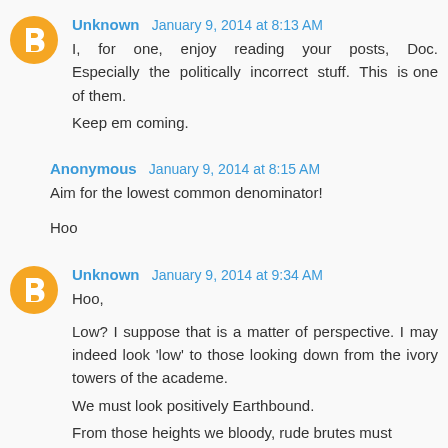Unknown January 9, 2014 at 8:13 AM
I, for one, enjoy reading your posts, Doc. Especially the politically incorrect stuff. This is one of them.
Keep em coming.
Anonymous January 9, 2014 at 8:15 AM
Aim for the lowest common denominator!

Hoo
Unknown January 9, 2014 at 9:34 AM
Hoo,

Low? I suppose that is a matter of perspective. I may indeed look 'low' to those looking down from the ivory towers of the academe.
We must look positively Earthbound.
From those heights we bloody, rude brutes must